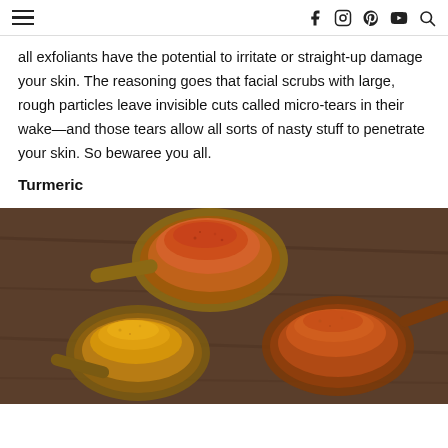Navigation header with hamburger menu and social icons (Facebook, Instagram, Pinterest, YouTube, Search)
all exfoliants have the potential to irritate or straight-up damage your skin. The reasoning goes that facial scrubs with large, rough particles leave invisible cuts called micro-tears in their wake—and those tears allow all sorts of nasty stuff to penetrate your skin. So bewaree you all.
Turmeric
[Figure (photo): Three wooden spoons filled with different colored spice powders — orange-red, bright orange-yellow, and red-orange — arranged on a dark wooden surface, resembling turmeric and other spices.]